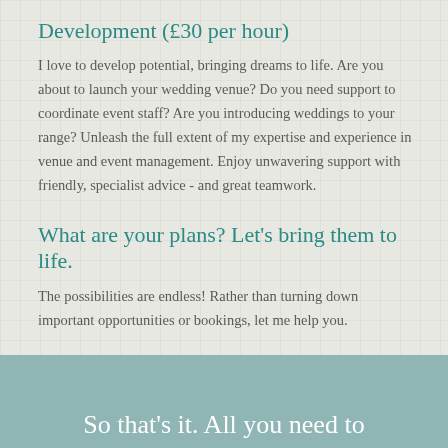Development (£30 per hour)
I love to develop potential, bringing dreams to life. Are you about to launch your wedding venue? Do you need support to coordinate event staff? Are you introducing weddings to your range? Unleash the full extent of my expertise and experience in venue and event management. Enjoy unwavering support with friendly, specialist advice - and great teamwork.
What are your plans? Let's bring them to life.
The possibilities are endless! Rather than turning down important opportunities or bookings, let me help you.
So that's it. All you need to